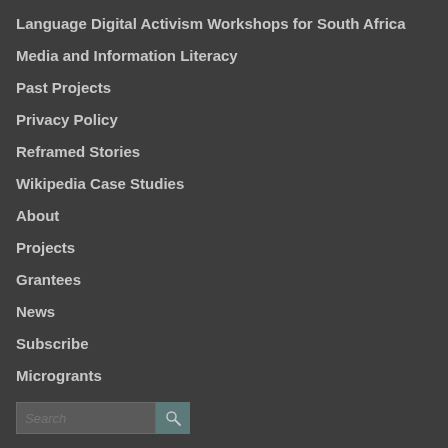Language Digital Activism Workshops for South Africa
Media and Information Literacy
Past Projects
Privacy Policy
Reframed Stories
Wikipedia Case Studies
About
Projects
Grantees
News
Subscribe
Microgrants
Contact